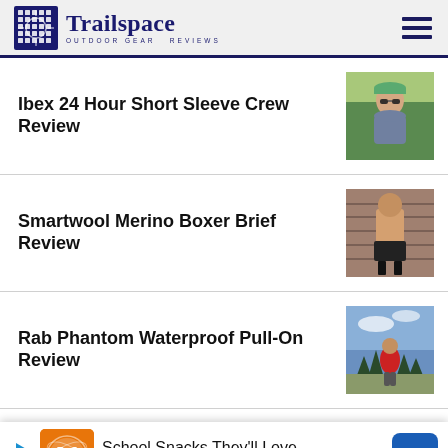Trailspace — Outdoor Gear Reviews
Ibex 24 Hour Short Sleeve Crew Review
[Figure (photo): Person wearing a blue short sleeve crew shirt outdoors with green hat and sunglasses]
Smartwool Merino Boxer Brief Review
[Figure (photo): Person wearing black boxer briefs and socks outdoors]
Rab Phantom Waterproof Pull-On Review
[Figure (photo): Person in red jacket standing on mountain trail with trees and sky]
Royal R... [Short] Sleeve ...
[Figure (photo): Partially visible person photo]
School Snacks They'll Love — Wegmans (advertisement banner)